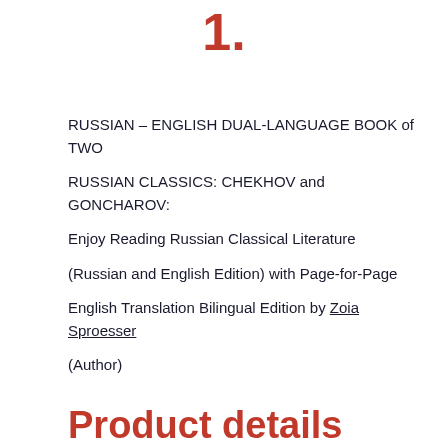1.
RUSSIAN – ENGLISH DUAL-LANGUAGE BOOK of TWO
RUSSIAN CLASSICS: CHEKHOV and GONCHAROV:
Enjoy Reading Russian Classical Literature
(Russian and English Edition) with Page-for-Page
English Translation Bilingual Edition by Zoia Sproesser
(Author)
Product details